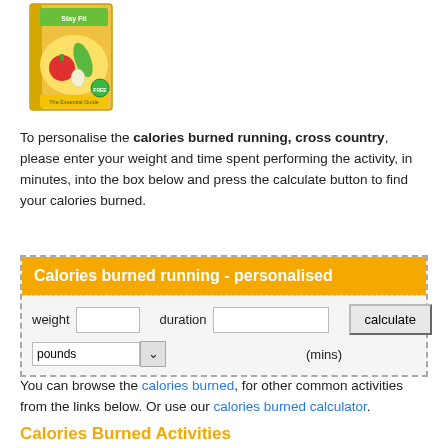[Figure (photo): Book cover image of a diet/nutrition book with vegetables and produce graphic]
To personalise the calories burned running, cross country, please enter your weight and time spent performing the activity, in minutes, into the box below and press the calculate button to find your calories burned.
| weight | [input] | duration | [input] | calculate |
| pounds [dropdown] |  | (mins) |  |  |
You can browse the calories burned, for other common activities from the links below. Or use our calories burned calculator.
Calories Burned Activities